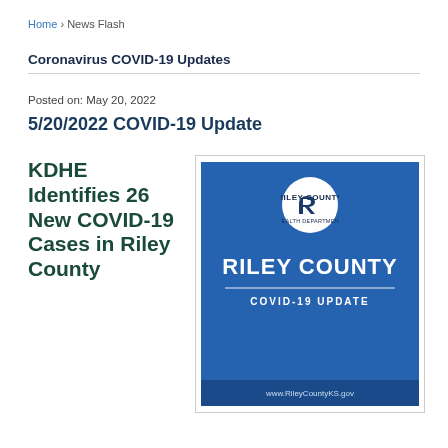Home › News Flash
Coronavirus COVID-19 Updates
Posted on: May 20, 2022
5/20/2022 COVID-19 Update
KDHE Identifies 26 New COVID-19 Cases in Riley County
[Figure (illustration): Riley County Health Department COVID-19 Update graphic. Blue background with Riley County logo (white circle with stylized R), large white text reading RILEY COUNTY, a horizontal divider, COVID-19 UPDATE in white smaller text, and website www.RileyCountyKS.gov at the bottom.]